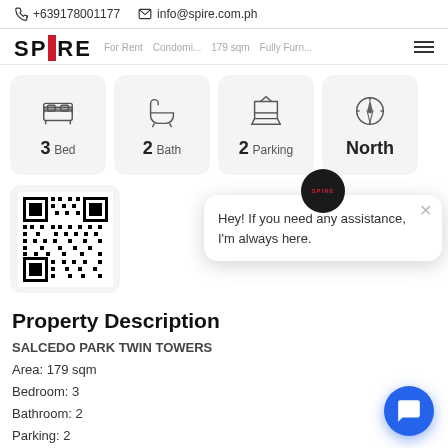+639178001177   info@spire.com.ph
[Figure (logo): SPIRE real estate logo with red vertical bar between SP and RE]
For Rent   Condomi...   179 sqm   Fully Furn...
[Figure (infographic): Property detail icon cards: 3 Bed, 2 Bath, 2 Parking, North facing]
[Figure (other): QR code in light gray rounded card]
[Figure (other): Chat popup overlay with SPIRE avatar: Hey! If you need any assistance, I'm always here.]
Property Description
SALCEDO PARK TWIN TOWERS
Area: 179 sqm
Bedroom: 3
Bathroom: 2
Parking: 2